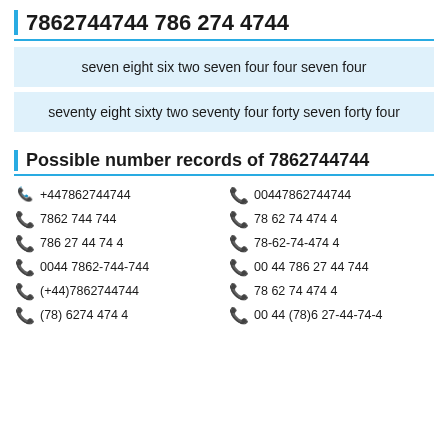7862744744 786 274 4744
seven eight six two seven four four seven four
seventy eight sixty two seventy four forty seven forty four
Possible number records of 7862744744
+447862744744
7862 744 744
786 27 44 74 4
0044 7862-744-744
(+44)7862744744
(78) 6274 474 4
00447862744744
78 62 74 474 4
78-62-74-474 4
00 44 786 27 44 744
78 62 74 474 4
00 44 (78)6 27-44-74-4